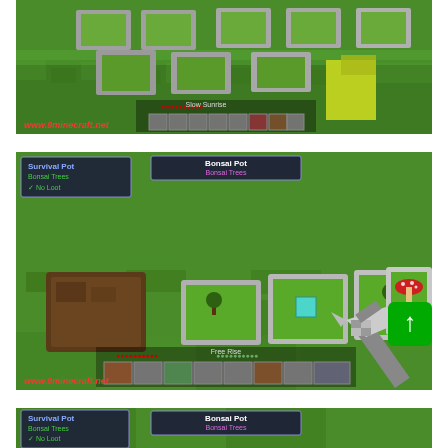[Figure (screenshot): Minecraft gameplay screenshot showing empty flower pots arranged in rows on grass, with HUD showing health bar and inventory. Watermark: www.9minecraft.net]
[Figure (screenshot): Minecraft gameplay screenshot showing Bonsai Pot blocks on grass with tooltip 'Bonsai Pot - Bonsai Trees' and left panel showing 'Survival Pot / Bonsai Trees / No Loot'. Small saplings visible in pots. Player holding item. Watermark: www.9minecraft.net. Green scroll-to-top button overlay.]
[Figure (screenshot): Minecraft gameplay screenshot (partially visible at bottom) showing Bonsai Pot interface with tooltip visible. Similar setup to previous screenshot.]